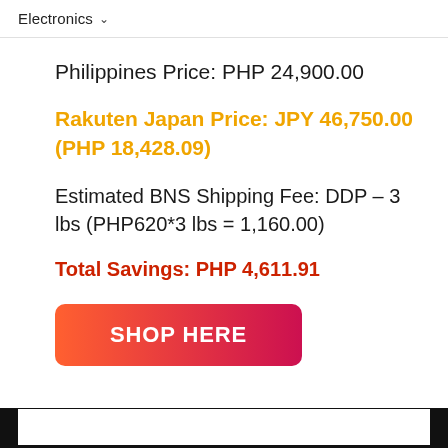Electronics
Philippines Price: PHP 24,900.00
Rakuten Japan Price: JPY 46,750.00 (PHP 18,428.09)
Estimated BNS Shipping Fee: DDP – 3 lbs (PHP620*3 lbs = 1,160.00)
Total Savings: PHP 4,611.91
[Figure (other): Red gradient button with white text reading SHOP HERE]
[Figure (other): Black bar at the bottom of the page with a white rectangular border inside]